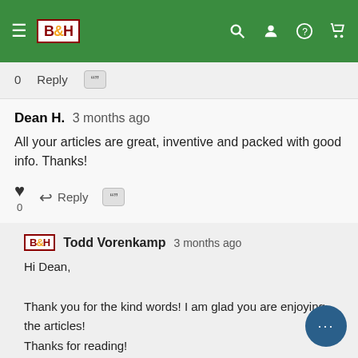B&H header navigation
0   Reply
Dean H.  3 months ago
All your articles are great, inventive and packed with good info. Thanks!
0   Reply
Todd Vorenkamp  3 months ago
Hi Dean,
Thank you for the kind words! I am glad you are enjoying the articles!
Thanks for reading!
Best,